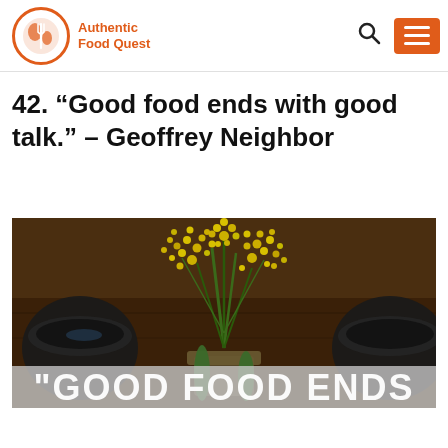Authentic Food Quest
42. “Good food ends with good talk.” – Geoffrey Neighbor
[Figure (photo): A restaurant table centerpiece with yellow flowers in a small pot, dark bowls on either side, on a dark wooden table surface. Overlaid with text reading “GOOD FOOD ENDS” in large white bold letters.]